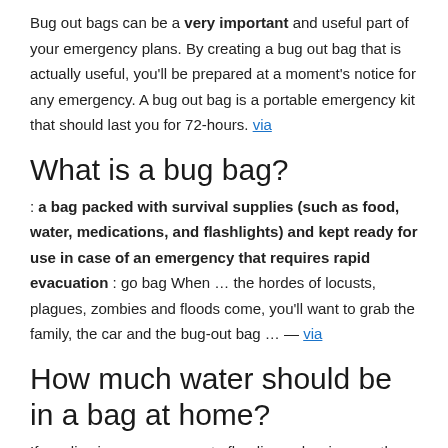Bug out bags can be a very important and useful part of your emergency plans. By creating a bug out bag that is actually useful, you'll be prepared at a moment's notice for any emergency. A bug out bag is a portable emergency kit that should last you for 72-hours. via
What is a bug bag?
: a bag packed with survival supplies (such as food, water, medications, and flashlights) and kept ready for use in case of an emergency that requires rapid evacuation : go bag When … the hordes of locusts, plagues, zombies and floods come, you'll want to grab the family, the car and the bug-out bag … — via
How much water should be in a bag at home?
If you live in an area prone to flooding or hurricanes, then consider